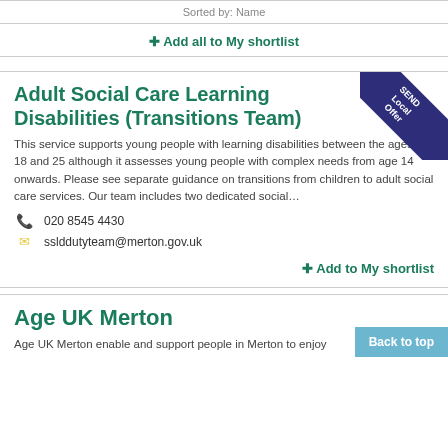Sorted by: Name
✚ Add all to My shortlist
Adult Social Care Learning Disabilities (Transitions Team)
This service supports young people with learning disabilities between the ages of 18 and 25 although it assesses young people with complex needs from age 14 onwards. Please see separate guidance on transitions from children to adult social care services. Our team includes two dedicated social…
020 8545 4430
sslddutyteam@merton.gov.uk
✚ Add to My shortlist
Age UK Merton
Age UK Merton enable and support people in Merton to enjoy